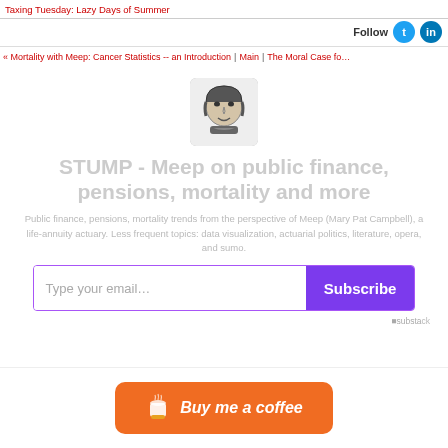Taxing Tuesday: Lazy Days of Summer
Follow | Twitter | LinkedIn
« Mortality with Meep: Cancer Statistics -- an Introduction | Main | The Moral Case fo...
[Figure (photo): Portrait photo of a person (Mary Pat Campbell) in black and white sketch style]
STUMP - Meep on public finance, pensions, mortality and more
Public finance, pensions, mortality trends from the perspective of Meep (Mary Pat Campbell), a life-annuity actuary. Less frequent topics: data visualization, actuarial politics, literature, opera, and sumo.
Type your email... Subscribe
[Figure (logo): Substack logo]
[Figure (illustration): Buy me a coffee button - orange rounded rectangle with coffee cup icon and italic text 'Buy me a coffee']